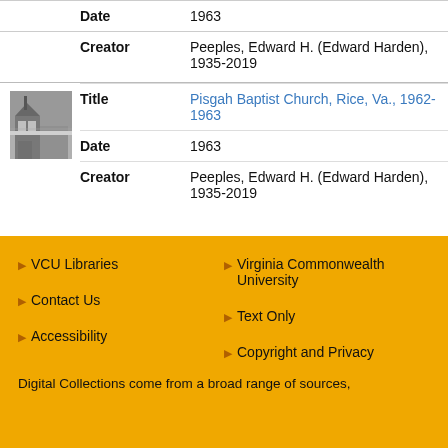| Field | Value |
| --- | --- |
| Date | 1963 |
| Creator | Peeples, Edward H. (Edward Harden), 1935-2019 |
[Figure (photo): Small black and white thumbnail photo of Pisgah Baptist Church]
| Field | Value |
| --- | --- |
| Title | Pisgah Baptist Church, Rice, Va., 1962-1963 |
| Date | 1963 |
| Creator | Peeples, Edward H. (Edward Harden), 1935-2019 |
VCU Libraries | Virginia Commonwealth University | Contact Us | Text Only | Accessibility | Copyright and Privacy | Digital Collections come from a broad range of sources,